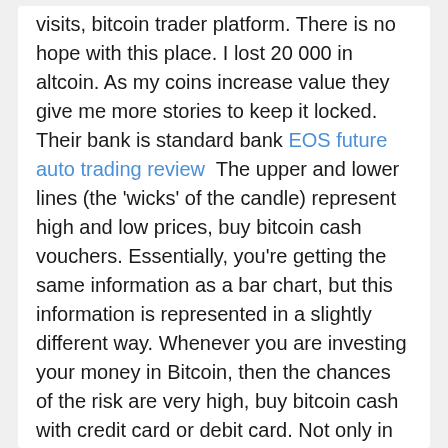visits, bitcoin trader platform. There is no hope with this place. I lost 20 000 in altcoin. As my coins increase value they give me more stories to keep it locked. Their bank is standard bank EOS future auto trading review  The upper and lower lines (the 'wicks' of the candle) represent high and low prices, buy bitcoin cash vouchers. Essentially, you're getting the same information as a bar chart, but this information is represented in a slightly different way. Whenever you are investing your money in Bitcoin, then the chances of the risk are very high, buy bitcoin cash with credit card or debit card. Not only in Bitcoin in other types of financial investments too, but the chances of the risk are also quite high. If you still aren't sure which UK cryptocurrency exchange will work best for you, see our below detailed breakdowns for our recommended exchanges to help you make a more informed decision, buy bitcoin from xapo. Find out more information on our rating process. The online trading platform eToro has been serving customers around the world since 2007. The Israeli startup is very well-known in the financial world and recently added cryptocurrency trading to it's growing list